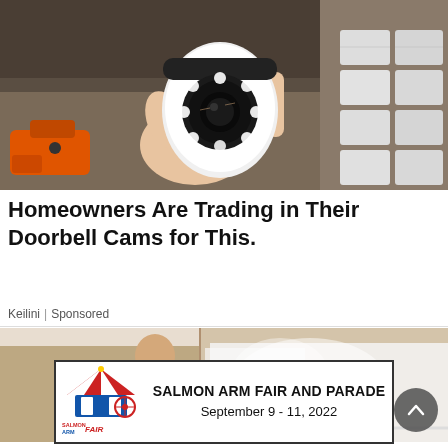[Figure (photo): A hand holding a small white security camera with LED lights around the lens, with an orange drill and cardboard boxes in the background.]
Homeowners Are Trading in Their Doorbell Cams for This.
Keilini | Sponsored
[Figure (photo): A bald man in a white shirt painting or spraying a beige interior wall with white paint, viewed from behind.]
[Figure (infographic): Advertisement banner for Salmon Arm Fair and Parade, September 9-11, 2022, featuring the Salmon Arm Fair logo with a circus tent and Ferris wheel.]